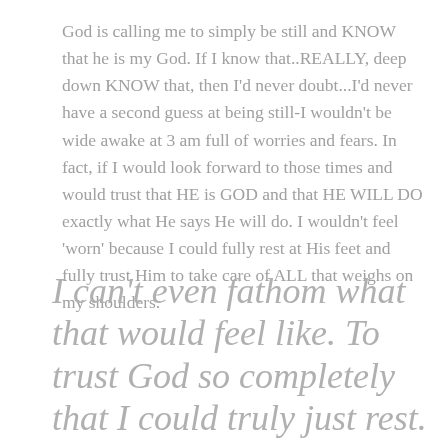God is calling me to simply be still and KNOW that he is my God. If I know that..REALLY, deep down KNOW that, then I'd never doubt...I'd never have a second guess at being still-I wouldn't be wide awake at 3 am full of worries and fears. In fact, if I would look forward to those times and would trust that HE is GOD and that HE WILL DO exactly what He says He will do. I wouldn't feel 'worn' because I could fully rest at His feet and fully trust Him to take care of ALL that weighs on my shoulders.
I can't even fathom what that would feel like. To trust God so completely that I could truly just rest. Whatever you're walking